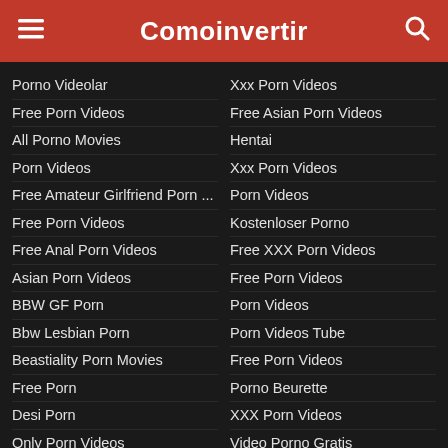Comoinvertir
Porno Videolar
Free Porn Videos
All Porno Movies
Porn Videos
Free Amateur Girlfriend Porn ...
Free Porn Videos
Free Anal Porn Videos
Asian Porn Videos
BBW GF Porn
Bbw Lesbian Porn
Beastiality Porn Movies
Free Porn
Desi Porn
Only Porn Videos
Blowjob Free Porn
Bukkake Free Porn
Pornhub
Chubby Free Porn
Clit Licking Lesbian Porn
Cosplay Free Porn Videos
Xxx Porn Videos
Free Asian Porn Videos
Hentai
Xxx Porn Videos
Porn Videos
Kostenloser Porno
Free XXX Porn Videos
Free Porn Videos
Porn Videos
Porn Videos Tube
Free Porn Videos
Porno Beurette
XXX Porn Videos
Video Porno Gratis
Порно Видео XXX
Bedava Porno Videolar
Лучшие Порно Видео
Videos Porno Gratis
Porn Tube
Porn Videos